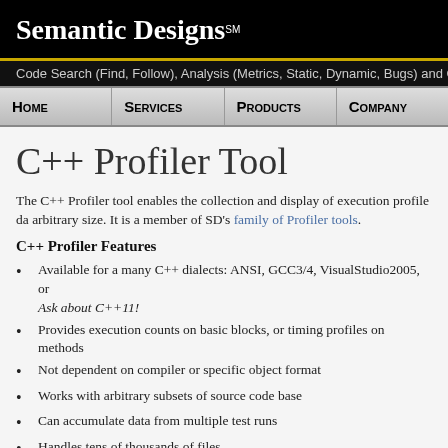Semantic Designs℠
Code Search (Find, Follow), Analysis (Metrics, Static, Dynamic, Bugs) and Change
C++ Profiler Tool
The C++ Profiler tool enables the collection and display of execution profile data of arbitrary size. It is a member of SD's family of Profiler tools.
C++ Profiler Features
Available for a many C++ dialects: ANSI, GCC3/4, VisualStudio2005, or Ask about C++11!
Provides execution counts on basic blocks, or timing profiles on methods
Not dependent on compiler or specific object format
Works with arbitrary subsets of source code base
Can accumulate data from multiple test runs
Handles tens of thousands of files
Ensures both coverage and build-time integration checks